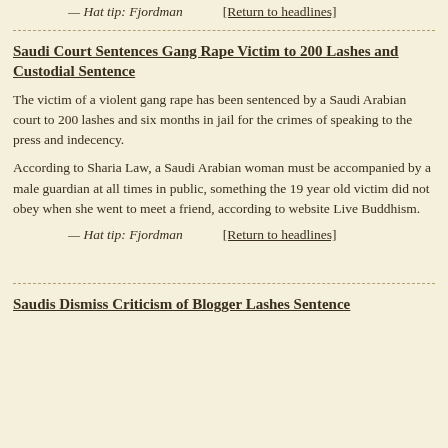— Hat tip: Fjordman    [Return to headlines]
Saudi Court Sentences Gang Rape Victim to 200 Lashes and Custodial Sentence
The victim of a violent gang rape has been sentenced by a Saudi Arabian court to 200 lashes and six months in jail for the crimes of speaking to the press and indecency.
According to Sharia Law, a Saudi Arabian woman must be accompanied by a male guardian at all times in public, something the 19 year old victim did not obey when she went to meet a friend, according to website Live Buddhism.
— Hat tip: Fjordman    [Return to headlines]
Saudis Dismiss Criticism of Blogger Lashes Sentence